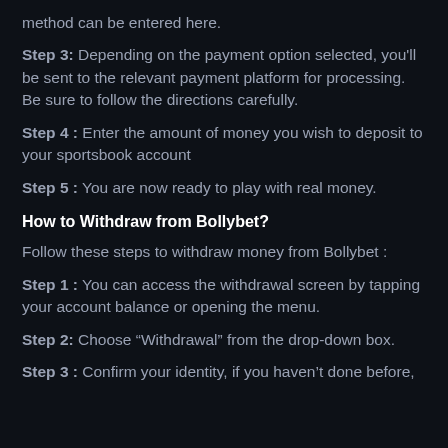method can be entered here.
Step 3: Depending on the payment option selected, you'll be sent to the relevant payment platform for processing. Be sure to follow the directions carefully.
Step 4 : Enter the amount of money you wish to deposit to your sportsbook account
Step 5 : You are now ready to play with real money.
How to Withdraw from Bollybet?
Follow these steps to withdraw money from Bollybet :
Step 1 : You can access the withdrawal screen by tapping your account balance or opening the menu.
Step 2: Choose “Withdrawal” from the drop-down box.
Step 3 : Confirm your identity, if you haven’t done before,